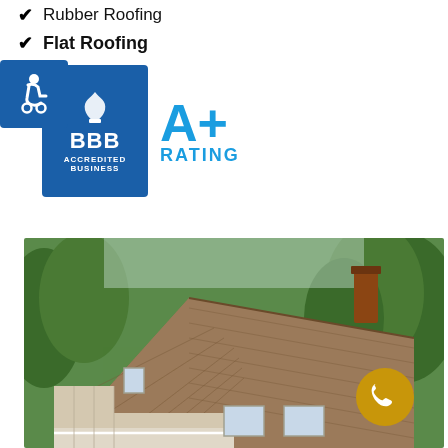Rubber Roofing
Flat Roofing
Metal Roofing
[Figure (logo): Accessibility wheelchair icon badge (blue square), BBB Accredited Business logo with blue shield/flame, and A+ Rating text in blue]
[Figure (photo): Aerial view of a residential house with brown/tan shingle roofing, white siding, surrounded by green trees. A golden phone icon badge is visible in the lower right of the image.]